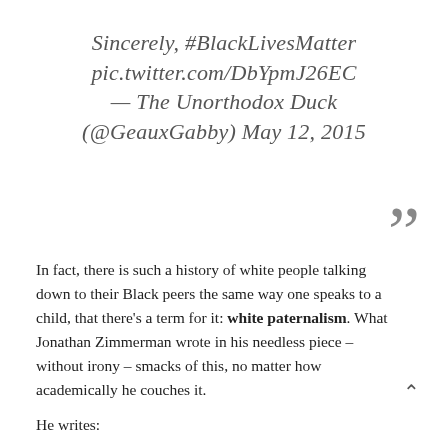Sincerely, #BlackLivesMatter pic.twitter.com/DbYpmJ26EC — The Unorthodox Duck (@GeauxGabby) May 12, 2015
In fact, there is such a history of white people talking down to their Black peers the same way one speaks to a child, that there's a term for it: white paternalism. What Jonathan Zimmerman wrote in his needless piece – without irony – smacks of this, no matter how academically he couches it.
He writes: